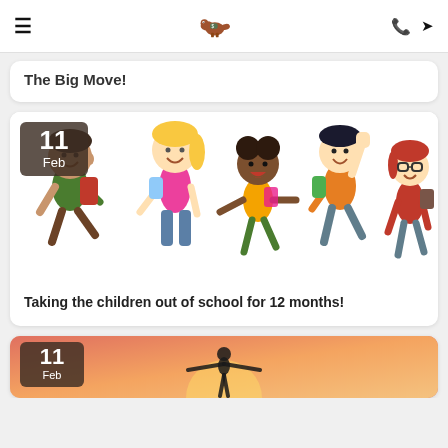≡  [dinosaur logo]  ☎ ➤
The Big Move!
[Figure (illustration): Cartoon illustration of five children walking and celebrating, with a date badge showing '11 Feb' in the top left corner]
Taking the children out of school for 12 months!
[Figure (photo): Photo of person with arms outstretched against a sunset sky, with a date badge showing '11 Feb' in the top left corner]